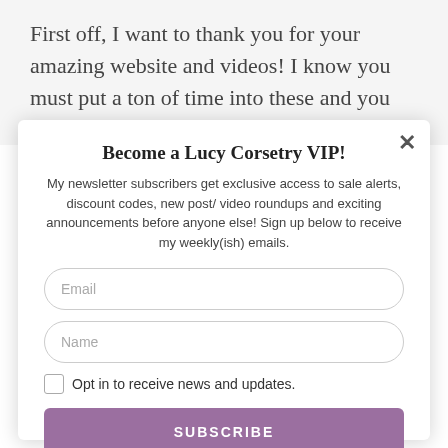First off, I want to thank you for your amazing website and videos! I know you must put a ton of time into these and you
Become a Lucy Corsetry VIP!
My newsletter subscribers get exclusive access to sale alerts, discount codes, new post/ video roundups and exciting announcements before anyone else! Sign up below to receive my weekly(ish) emails.
Email
Name
Opt in to receive news and updates.
SUBSCRIBE